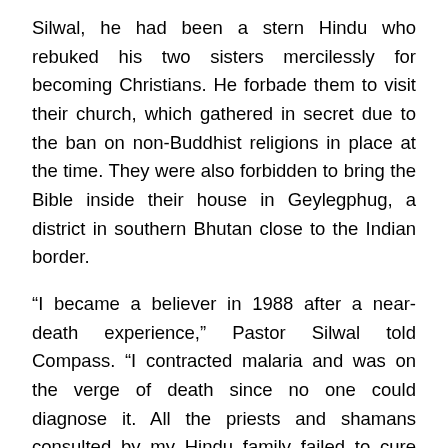Silwal, he had been a stern Hindu who rebuked his two sisters mercilessly for becoming Christians. He forbade them to visit their church, which gathered in secret due to the ban on non-Buddhist religions in place at the time. They were also forbidden to bring the Bible inside their house in Geylegphug, a district in southern Bhutan close to the Indian border.
“I became a believer in 1988 after a near-death experience,” Pastor Silwal told Compass. “I contracted malaria and was on the verge of death since no one could diagnose it. All the priests and shamans consulted by my Hindu family failed to cure me. One day, when I thought I was going to die I had a vision.”
The pastor said he saw a white-robed figure holding a Bible in one hand and beckoning to him with the other.